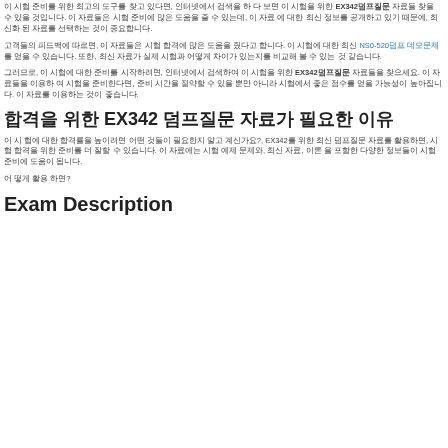이 시험 준비를 위한 최고의 도구를 찾고 있다면, 인터넷에서 검색을 하 다 보면 이 시험을 위한 EX342덤프질문 자료들 찾을 수 있을 것입니다. 이 자료들은 시험 준비에 많은 도움을 줄 수 있는데, 이 자료 에 대한 최신 정보를 공개하고 있기 때문에, 최신화 된 자료를 선택하는 것이 중요합니다.
고객들의 피드백에 따르면, 이 자료들은 시험 합격에 많은 도움을 줬다고 합니다. 이 시험에 대한 최신 NS0-520덤프 데모문제를 얻을 수 있습니다. 또한, 최신 자료가 실제 시험과 어떻게 차이가 있는지를 비교해 볼 수 있습니다.
그러므로, 이 시험에 대한 준비를 시작하려면, 인터넷에서 검색하여 이 시험을 위한 EX342덤프질문 자료들을 찾으세요. 이 자료들을 이용하 여 시험을 준비한다면, 준비 시간을 절약할 수 있을 뿐만 아니라 시험에서 좋은 점수를 얻을 가능성이 높아집니다. 이 자료를 이용하는 것이 좋습니다.
합격을 위한 EX342 덤프질문 자료가 필요한 이유
이 시 험에 대한 합격률을 높이려면 어떤 것들이 필요한지 알고 계신가요?, EX342를 위한 최신 덤프질문 자료를 활용하면, 시험 합격을 위한 준비를 더 잘할 수 있습니다. 이 자료에는 시험 예제 문제와, 최신 자료, 이론 을 포함한 다양한 정보들이 시험 준비에 도움이 됩니다.
어 떻게 활용 하면?
Exam Description